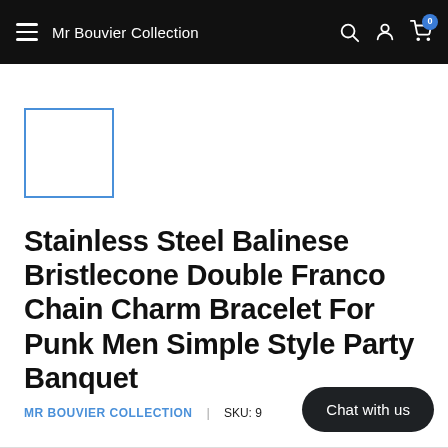Mr Bouvier Collection
[Figure (other): Product thumbnail placeholder — empty white box with blue border]
Stainless Steel Balinese Bristlecone Double Franco Chain Charm Bracelet For Punk Men Simple Style Party Banquet
MR BOUVIER COLLECTION | SKU: 9
Chat with us